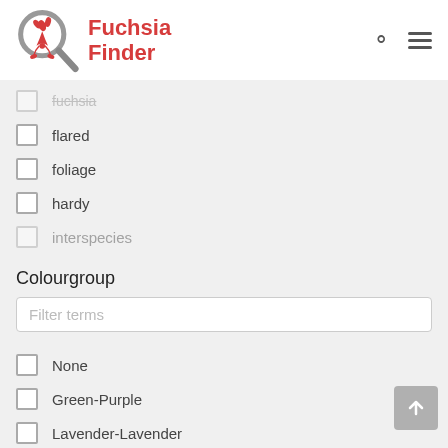[Figure (logo): Fuchsia Finder logo with magnifying glass and fuchsia plant graphic in red/grey]
flared
foliage
hardy
interspecies
Colourgroup
Filter terms
None
Green-Purple
Lavender-Lavender
Lavender-Pink
Lavender-Purple
Lavender-Red